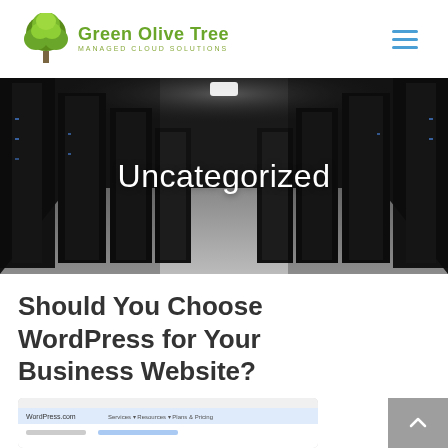Green Olive Tree — MANAGED CLOUD SOLUTIONS
[Figure (photo): Dark server room with rows of black server racks receding into the distance under ceiling lights]
Uncategorized
Should You Choose WordPress for Your Business Website?
[Figure (screenshot): Partial screenshot of a WordPress-related website showing navigation and content]